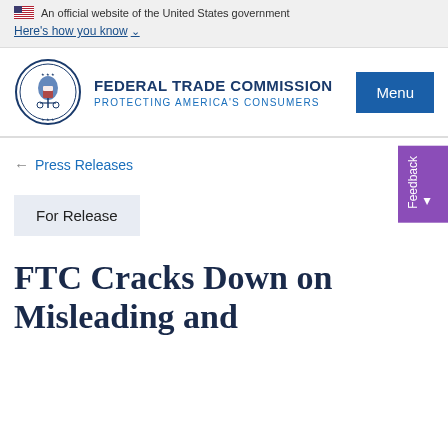An official website of the United States government
Here's how you know
[Figure (logo): Federal Trade Commission seal and logo with text FEDERAL TRADE COMMISSION PROTECTING AMERICA'S CONSUMERS]
Menu
← Press Releases
For Release
FTC Cracks Down on Misleading and